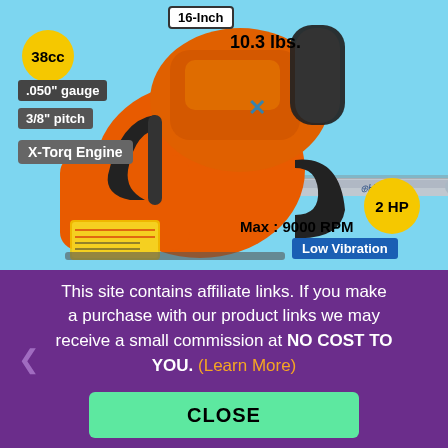[Figure (photo): Orange Husqvarna chainsaw on light blue background with product specification badges: 16-Inch bar length, 38cc engine displacement, 10.3 lbs weight, .050 inch gauge, 3/8 inch pitch, X-Torq Engine, 2 HP, Max 9000 RPM, Low Vibration]
This site contains affiliate links. If you make a purchase with our product links we may receive a small commission at NO COST TO YOU. (Learn More)
CLOSE